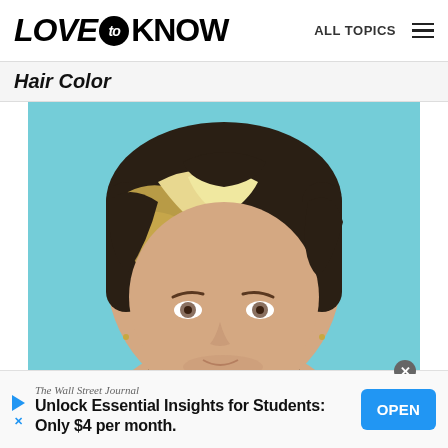LOVE to KNOW   ALL TOPICS
Hair Color
[Figure (photo): Close-up portrait of a young man with highlighted hair — dark brown base with blonde/white streaks at the front, on a light blue background]
The Wall Street Journal
Unlock Essential Insights for Students:
Only $4 per month.
OPEN